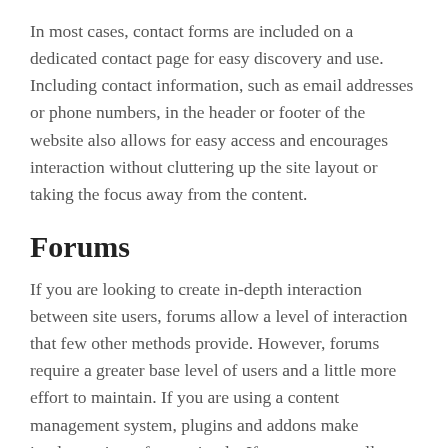In most cases, contact forms are included on a dedicated contact page for easy discovery and use. Including contact information, such as email addresses or phone numbers, in the header or footer of the website also allows for easy access and encourages interaction without cluttering up the site layout or taking the focus away from the content.
Forums
If you are looking to create in-depth interaction between site users, forums allow a level of interaction that few other methods provide. However, forums require a greater base level of users and a little more effort to maintain. If you are using a content management system, plugins and addons make implementing a forum simple. If you are manually coding the site, forum software exists that can be integrated into nearly any site with PHP and mySQL support.
Of course, implementing a forum adds another level of